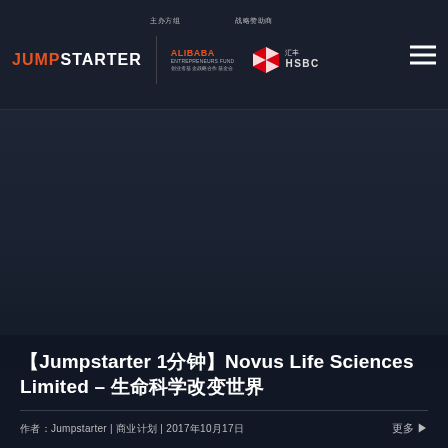JUMPSTARTER | ALIBABA ENTREPRENEURS FUND | 汇丰 HSBC
[Figure (screenshot): Dark background hero image area for article]
【Jumpstarter 1分钟】Novus Life Sciences Limited – 生命科学改变世界
作者：Jumpstarter | 商业计划 | 2017年10月17日
更多 ▶